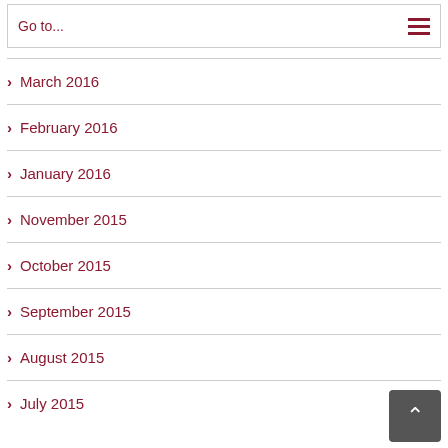Go to...
March 2016
February 2016
January 2016
November 2015
October 2015
September 2015
August 2015
July 2015